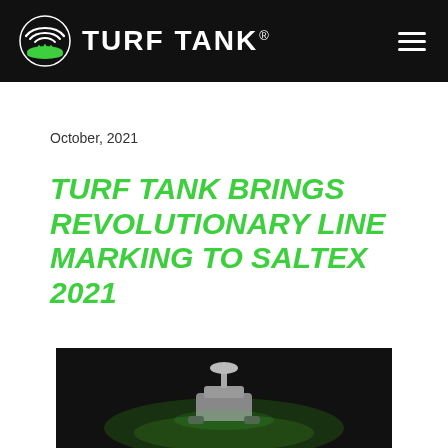TURF TANK®
October, 2021
TURF TANK BRINGS REVOLUTIONARY LINE MARKING TO SALTEX 2021
[Figure (photo): Photo of a Turf Tank robotic line marking machine on a grass field at night, lit with green lighting]